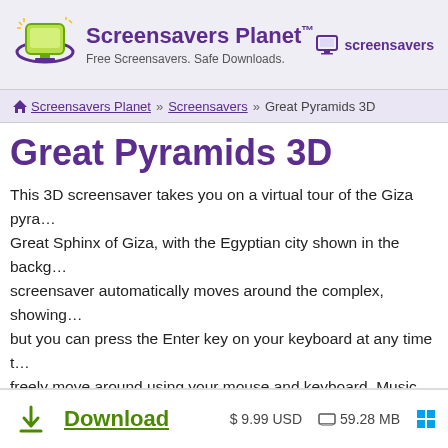Screensavers Planet™ — Free Screensavers. Safe Downloads. | screensavers
🏠 Screensavers Planet » Screensavers » Great Pyramids 3D
Great Pyramids 3D
This 3D screensaver takes you on a virtual tour of the Giza pyra... Great Sphinx of Giza, with the Egyptian city shown in the backg... screensaver automatically moves around the complex, showing... but you can press the Enter key on your keyboard at any time t... freely move around using your mouse and keyboard. Music and
This download will probably not be usable on computers ru
Download  $ 9.99 USD  59.28 MB